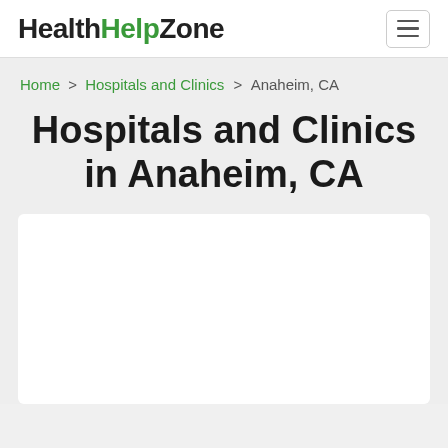HealthHelpZone
Home > Hospitals and Clinics > Anaheim, CA
Hospitals and Clinics in Anaheim, CA
[Figure (other): White content card area below the title]